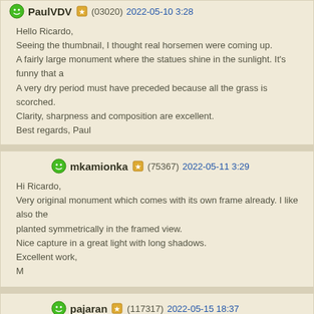PaulVDV (03020) 2022-05-10 3:28
Hello Ricardo,
Seeing the thumbnail, I thought real horsemen were coming up.
A fairly large monument where the statues shine in the sunlight. It's funny that a
A very dry period must have preceded because all the grass is scorched.
Clarity, sharpness and composition are excellent.
Best regards, Paul
mkamionka (75367) 2022-05-11 3:29
Hi Ricardo,
Very original monument which comes with its own frame already. I like also the
planted symmetrically in the framed view.
Nice capture in a great light with long shadows.
Excellent work,
M
pajaran (117317) 2022-05-15 18:37
Pozdrav.

Interesantan i lep pogled, dobar tekst ...
Lep spomenik, dobro pokazano sa lepim bojama, kontrastom i uhvacenim trenu
Lepe skulpture.
Dobar rad, lepa fotografija.
Ostaju spomenici secanja.